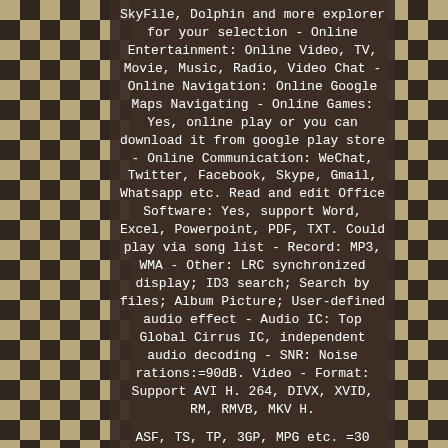[Figure (photo): Checkerboard pattern (chess board) background photo with dark brown and cream squares, visible on left and right sides of the image]
SkyFile, Dolphin and more explorer for your selection - Online Entertainment: Online Video, TV, Movie, Music, Radio, Video Chat - Online Navigation: Online Google Maps Navigating - Online Games: Yes, online play or you can download it from google play store - Online Communication: WeChat, Twitter, Facebook, Skype, Gmail, Whatsapp etc. Read and edit Office Software: Yes, support Word, Excel, Powerpoint, PDF, TXT. Could play via song list - Record: MP3, WMA - Other: LRC synchronized display; ID3 search; Search by files; Album Picture; User-defined audio effect - Audio IC: Top Global Cirrus IC, independent audio decoding - SNR: Noise rations:=90dB. Video - Format: Support AVI H. 264, DIVX, XVID, RM, RMVB, MKV H.
ASF, TS, TP, 3GP, MPG etc. =30 formats, Playing internet video directly (while downloading) - Play: Up to 19201080 Pixels, 30Mb. Fluent play without light spot. GPS - Operation System: Android 8.1 - Support Maps: IGO, Sygic, Google